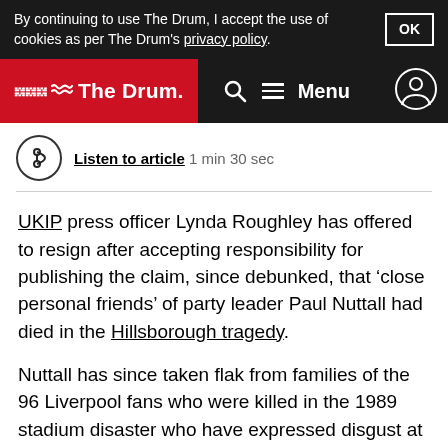By continuing to use The Drum, I accept the use of cookies as per The Drum's privacy policy.  OK
[Figure (logo): The Drum navigation bar with logo, search icon, menu, and user icon]
Listen to article  1 min 30 sec
UKIP press officer Lynda Roughley has offered to resign after accepting responsibility for publishing the claim, since debunked, that ‘close personal friends’ of party leader Paul Nuttall had died in the Hillsborough tragedy.
Nuttall has since taken flak from families of the 96 Liverpool fans who were killed in the 1989 stadium disaster who have expressed disgust at the perceived attempt to seek political capital from personal tragedies.